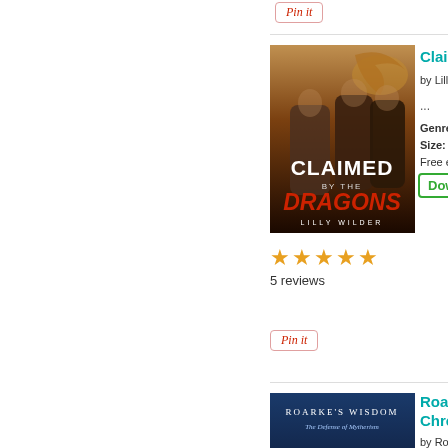[Figure (illustration): Pin it button at top]
[Figure (photo): Book cover for 'Claimed by the Dragons' by Lilly Wilder, showing two shirtless men and a blonde woman with a dragon in the background]
Claimed by the...
by Lilly Wil...
...
Genre: Sc...
Size: 1.95...
Free eBoo...
Download...
★★★★★
5 reviews
[Figure (illustration): Pin it button]
[Figure (photo): Book cover for "Roarke's Wisdom Chronicles" by Robert W..., a dark blue cover with text]
Roarke's Chroni...
by Robert W...